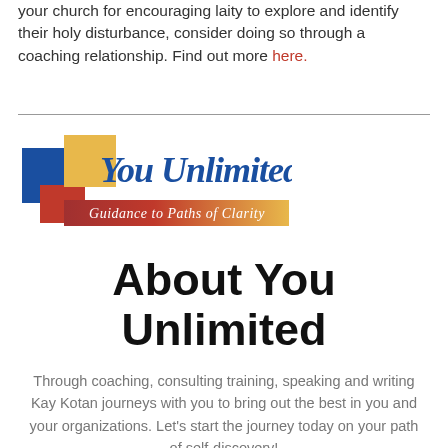your church for encouraging laity to explore and identify their holy disturbance, consider doing so through a coaching relationship. Find out more here.
[Figure (logo): You Unlimited logo with colored squares (blue, yellow, red) and script/italic text 'You Unlimited' in blue and gold, with tagline banner 'Guidance to Paths of Clarity' on gradient red-to-yellow background]
About You Unlimited
Through coaching, consulting training, speaking and writing Kay Kotan journeys with you to bring out the best in you and your organizations. Let's start the journey today on your path of self-discovery!